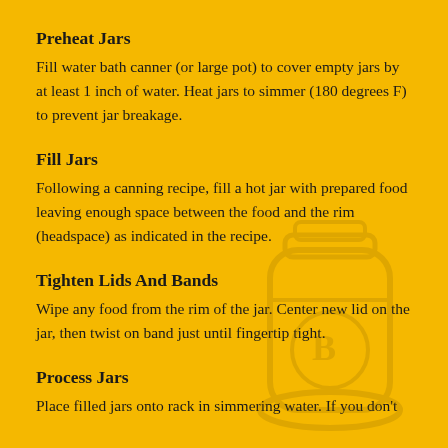Preheat Jars
Fill water bath canner (or large pot) to cover empty jars by at least 1 inch of water. Heat jars to simmer (180 degrees F) to prevent jar breakage.
Fill Jars
Following a canning recipe, fill a hot jar with prepared food leaving enough space between the food and the rim (headspace) as indicated in the recipe.
Tighten Lids And Bands
Wipe any food from the rim of the jar. Center new lid on the jar, then twist on band just until fingertip tight.
Process Jars
Place filled jars onto rack in simmering water. If you don't